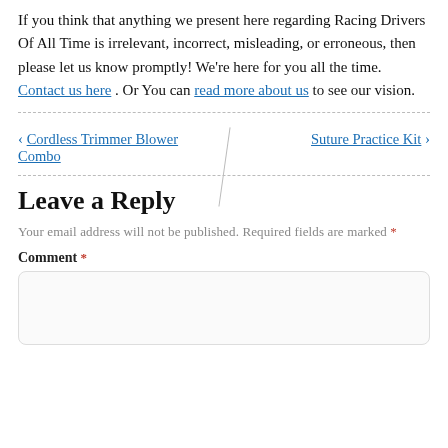If you think that anything we present here regarding Racing Drivers Of All Time is irrelevant, incorrect, misleading, or erroneous, then please let us know promptly! We're here for you all the time. Contact us here . Or You can read more about us to see our vision.
< Cordless Trimmer Blower Combo   Suture Practice Kit >
Leave a Reply
Your email address will not be published. Required fields are marked *
Comment *